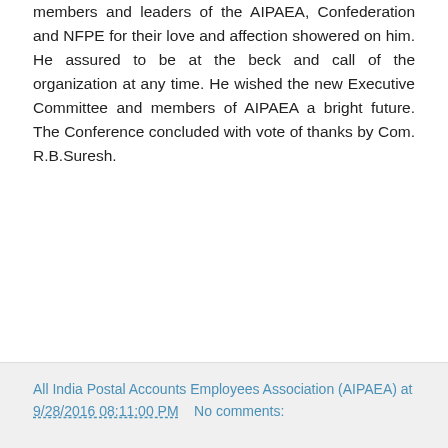members and leaders of the AIPAEA, Confederation and NFPE for their love and affection showered on him. He assured to be at the beck and call of the organization at any time. He wished the new Executive Committee and members of AIPAEA a bright future. The Conference concluded with vote of thanks by Com. R.B.Suresh.
All India Postal Accounts Employees Association (AIPAEA) at 9/28/2016 08:11:00 PM   No comments: